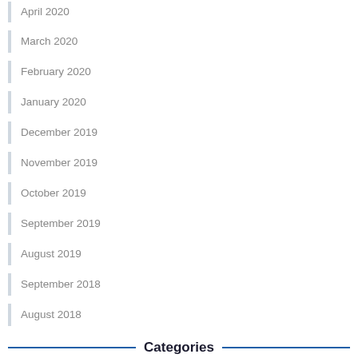April 2020
March 2020
February 2020
January 2020
December 2019
November 2019
October 2019
September 2019
August 2019
September 2018
August 2018
Categories
Account Based Marketing
Account Based Selling